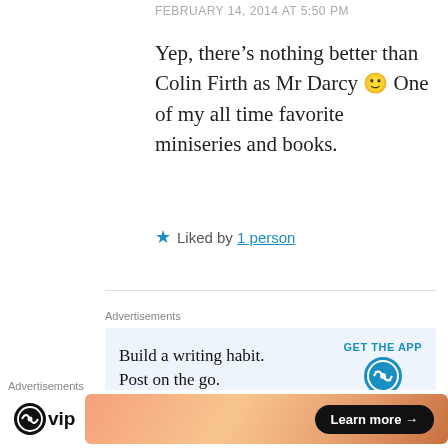FEBRUARY 14, 2014 AT 5:50 PM
Yep, there's nothing better than Colin Firth as Mr Darcy 🙂 One of my all time favorite miniseries and books.
★ Liked by 1 person
[Figure (other): Horizontal divider line]
Advertisements
[Figure (other): WordPress advertisement: Build a writing habit. Post on the go. GET THE APP with WordPress logo]
REPORT THIS AD
[Figure (photo): User avatar photo - circular profile image]
maybeilljustfallinlove
Advertisements
[Figure (other): WordPress VIP advertisement with gradient orange background and Learn more button]